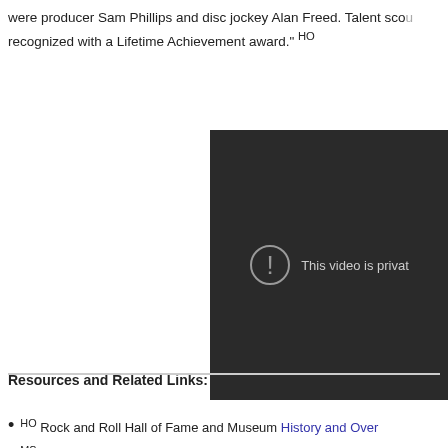were producer Sam Phillips and disc jockey Alan Freed. Talent scouts… recognized with a Lifetime Achievement award." HO
[Figure (screenshot): Dark video player showing 'This video is private' error message with an exclamation mark icon in a circle.]
Resources and Related Links:
HO Rock and Roll Hall of Fame and Museum History and Over…
MS Rock and Roll Hall of Fame and Museum Learn About the…